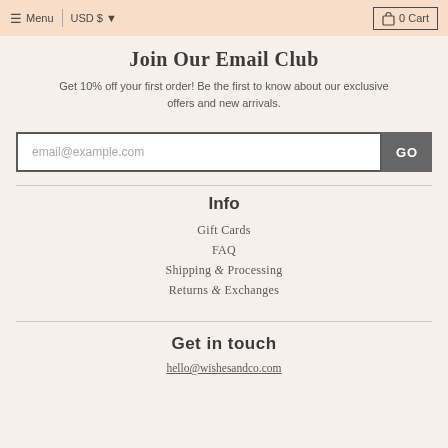≡ Menu  |  USD $  ▾  [cart icon] 0 Cart
Join Our Email Club
Get 10% off your first order! Be the first to know about our exclusive offers and new arrivals.
email@example.com  [GO]
Info
Gift Cards
FAQ
Shipping & Processing
Returns & Exchanges
Get in touch
hello@wishesandco.com